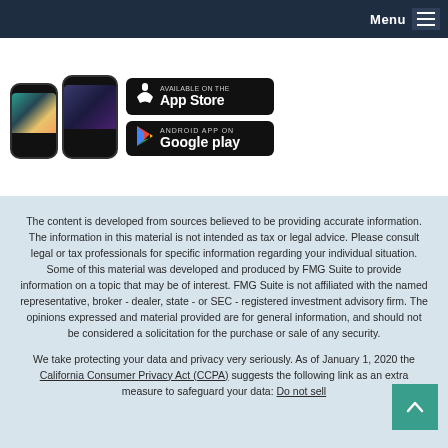Menu
[Figure (screenshot): Two mobile phones and App Store / Google Play download badges]
The content is developed from sources believed to be providing accurate information. The information in this material is not intended as tax or legal advice. Please consult legal or tax professionals for specific information regarding your individual situation. Some of this material was developed and produced by FMG Suite to provide information on a topic that may be of interest. FMG Suite is not affiliated with the named representative, broker - dealer, state - or SEC - registered investment advisory firm. The opinions expressed and material provided are for general information, and should not be considered a solicitation for the purchase or sale of any security.
We take protecting your data and privacy very seriously. As of January 1, 2020 the California Consumer Privacy Act (CCPA) suggests the following link as an extra measure to safeguard your data: Do not sell